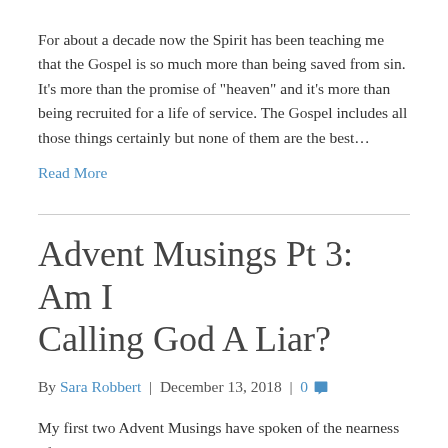For about a decade now the Spirit has been teaching me that the Gospel is so much more than being saved from sin. It’s more than the promise of “heapven” and it’s more than being recruited for a life of service. The Gospel includes all those things certainly but none of them are the best…
Read More
Advent Musings Pt 3: Am I Calling God A Liar?
By Sara Robbert | December 13, 2018 | 0
My first two Advent Musings have spoken of the nearness of God. I’ve encouraged us to pursue